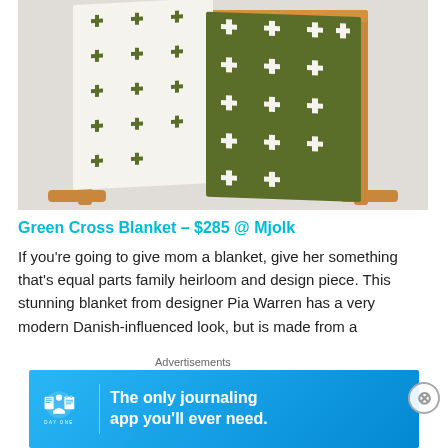[Figure (photo): Green cross patterned blanket draped over a wooden blanket rack, showing both sides — one cream/white with olive green cross pattern and one olive green with cream white cross pattern. Background is light gray.]
Green Cross Blanket – $285 @ Mjolk
If you're going to give mom a blanket, give her something that's equal parts family heirloom and design piece. This stunning blanket from designer Pia Warren has a very modern Danish-influenced look, but is made from a
Advertisements
[Figure (screenshot): Day One journaling app advertisement banner with cyan/blue gradient background. Shows DAY ONE logo with icons of a journal, person, and notepad, and text 'The only journaling app you'll ever need.']